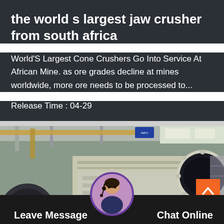the world s largest jaw crusher from south africa
World'S Largest Cone Crushers Go Into Service At African Mine. as ore grades decline at mines worldwide, more ore needs to be processed to...
Release Time : 04-29
[Figure (photo): Large industrial jaw crusher machine in a factory/warehouse setting with steel beams and scaffolding visible in background.]
Leave Message
Chat Online